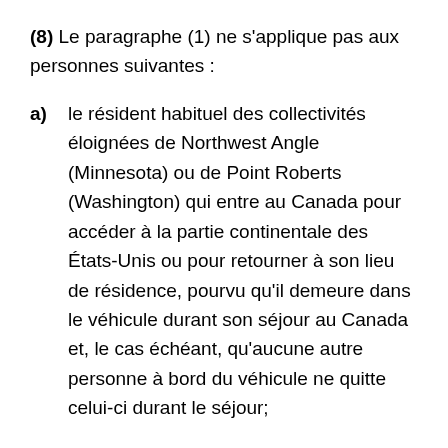(8)  Le paragraphe (1) ne s'applique pas aux personnes suivantes :
a)  le résident habituel des collectivités éloignées de Northwest Angle (Minnesota) ou de Point Roberts (Washington) qui entre au Canada pour accéder à la partie continentale des États-Unis ou pour retourner à son lieu de résidence, pourvu qu'il demeure dans le véhicule durant son séjour au Canada et, le cas échéant, qu'aucune autre personne à bord du véhicule ne quitte celui-ci durant le séjour;